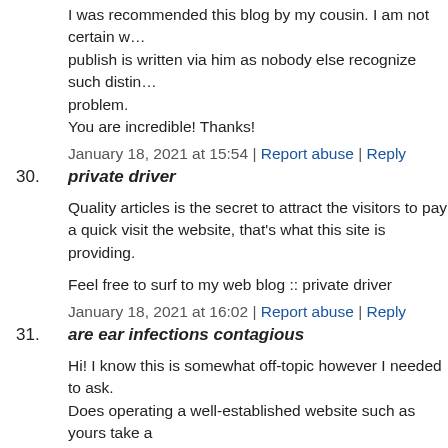I was recommended this blog by my cousin. I am not certain w… publish is written via him as nobody else recognize such distin… problem.
You are incredible! Thanks!
January 18, 2021 at 15:54 | Report abuse | Reply
30. private driver
Quality articles is the secret to attract the visitors to pay a quick visit the website, that's what this site is providing.
Feel free to surf to my web blog :: private driver
January 18, 2021 at 16:02 | Report abuse | Reply
31. are ear infections contagious
Hi! I know this is somewhat off-topic however I needed to ask. Does operating a well-established website such as yours take a massive amount work? I am completely new to writing a blog journal daily.
I'd like to start a blog so I will be able to share my personal ex… online. Please let me know if you have any recommendations o… new aspiring bloggers. Thankyou!
January 18, 2021 at 16:11 | Report abuse | Reply